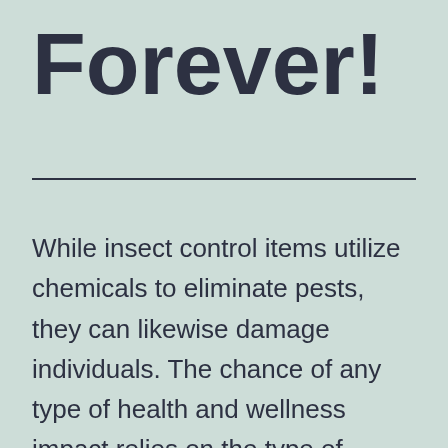Forever!
While insect control items utilize chemicals to eliminate pests, they can likewise damage individuals. The chance of any type of health and wellness impact relies on the type of chemical, how much is sprayed, as well as the length of time it is revealed. It is critical to